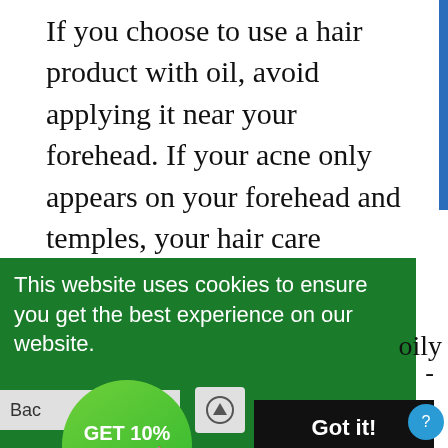If you choose to use a hair product with oil, avoid applying it near your forehead. If your acne only appears on your forehead and temples, your hair care products may be to blame. Consider switching products, and only use ones that contain water or glycerin instead of oil.
[Figure (infographic): Green cookie consent banner overlay with text 'This website uses cookies to ensure you get the best experience on our website.' and a black 'Got it!' button. A green circular promotional bubble reads 'GET 10% OFF' with an emoji. Partial background text visible: 'oily' and 'ar'. A blue circular help icon is visible at bottom right.]